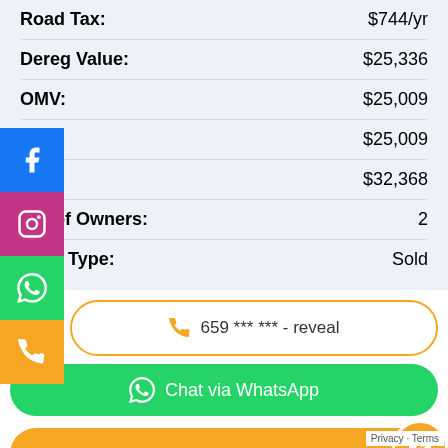| Field | Value |
| --- | --- |
| Road Tax: | $744/yr |
| Dereg Value: | $25,336 |
| OMV: | $25,009 |
| ARF: | $25,009 |
| COE: | $32,368 |
| No. of Owners: | 2 |
| Offer Type: | Sold |
659 *** *** - reveal
Chat via WhatsApp
Contact Us for the Latest Promotion
Privacy · Terms